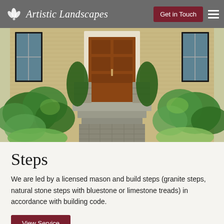Artistic Landscapes — Get in Touch
[Figure (photo): Front entrance of a home with a wooden door, stone steps flanked by lush green plantings and shrubs, bluestone paver walkway leading up to the steps.]
Steps
We are led by a licensed mason and build steps (granite steps, natural stone steps with bluestone or limestone treads) in accordance with building code.
View Service